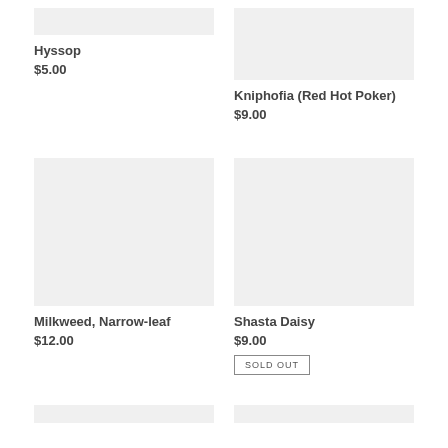[Figure (photo): Placeholder image for Hyssop plant product]
Hyssop
$5.00
[Figure (photo): Placeholder image for Kniphofia (Red Hot Poker) plant product]
Kniphofia (Red Hot Poker)
$9.00
[Figure (photo): Placeholder image for Milkweed, Narrow-leaf plant product]
Milkweed, Narrow-leaf
$12.00
[Figure (photo): Placeholder image for Shasta Daisy plant product]
Shasta Daisy
$9.00
SOLD OUT
[Figure (photo): Placeholder image for a fifth plant product (partially visible)]
[Figure (photo): Placeholder image for a sixth plant product (partially visible)]